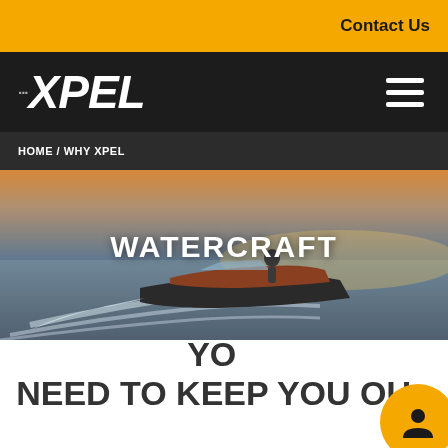Contact Us
[Figure (logo): XPEL logo in white italic bold text on dark background with dot-dot-dot prefix]
HOME / WHY XPEL
[Figure (photo): Aerial view of a motorboat speeding across open water at sunset, creating a large wake]
WATERCRAFT
FIND THE PRODUCTS YOU NEED TO KEEP YOU OUT ON THE WATER